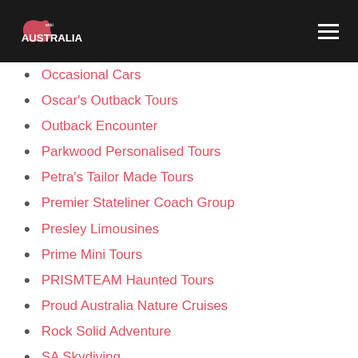wiki AUSTRALIA
Occasional Cars
Oscar's Outback Tours
Outback Encounter
Parkwood Personalised Tours
Petra's Tailor Made Tours
Premier Stateliner Coach Group
Presley Limousines
Prime Mini Tours
PRISMTEAM Haunted Tours
Proud Australia Nature Cruises
Rock Solid Adventure
SA Skydiving
SmartCar Adelaide